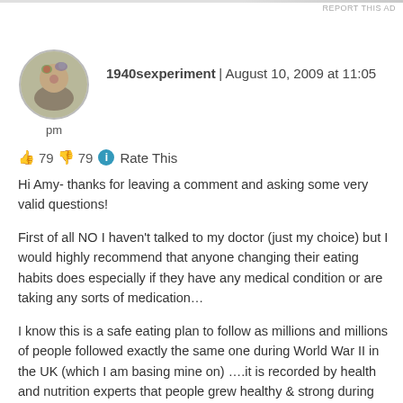REPORT THIS AD
[Figure (photo): Circular avatar photo of a woman with flowers in her hair]
1940sexperiment | August 10, 2009 at 11:05 pm
👍 79 👎 79 ℹ Rate This
Hi Amy- thanks for leaving a comment and asking some very valid questions!
First of all NO I haven't talked to my doctor (just my choice) but I would highly recommend that anyone changing their eating habits does especially if they have any medical condition or are taking any sorts of medication…
I know this is a safe eating plan to follow as millions and millions of people followed exactly the same one during World War II in the UK (which I am basing mine on) ….it is recorded by health and nutrition experts that people grew healthy & strong during the war as food rationing ensured that people ate healthier